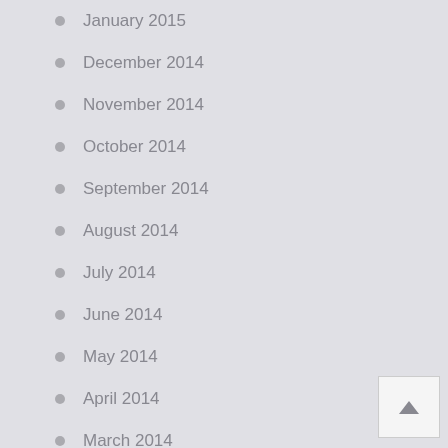January 2015
December 2014
November 2014
October 2014
September 2014
August 2014
July 2014
June 2014
May 2014
April 2014
March 2014
February 2014
January 2014
December 2013
November 2013